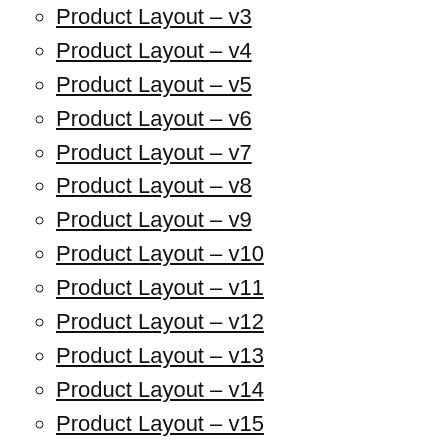Product Layout – v3
Product Layout – v4
Product Layout – v5
Product Layout – v6
Product Layout – v7
Product Layout – v8
Product Layout – v9
Product Layout – v10
Product Layout – v11
Product Layout – v12
Product Layout – v13
Product Layout – v14
Product Layout – v15
5 Product Type Pages:
Product Simple
Product Variable